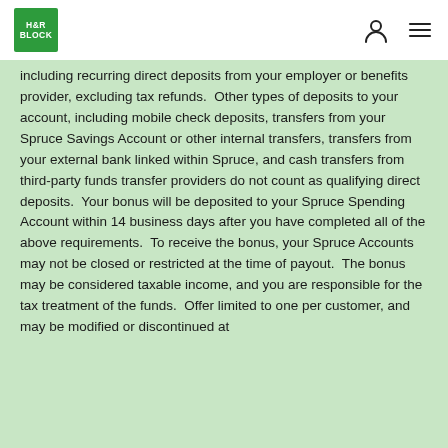H&R BLOCK
including recurring direct deposits from your employer or benefits provider, excluding tax refunds.  Other types of deposits to your account, including mobile check deposits, transfers from your Spruce Savings Account or other internal transfers, transfers from your external bank linked within Spruce, and cash transfers from third-party funds transfer providers do not count as qualifying direct deposits.  Your bonus will be deposited to your Spruce Spending Account within 14 business days after you have completed all of the above requirements.  To receive the bonus, your Spruce Accounts may not be closed or restricted at the time of payout.  The bonus may be considered taxable income, and you are responsible for the tax treatment of the funds.  Offer limited to one per customer, and may be modified or discontinued at